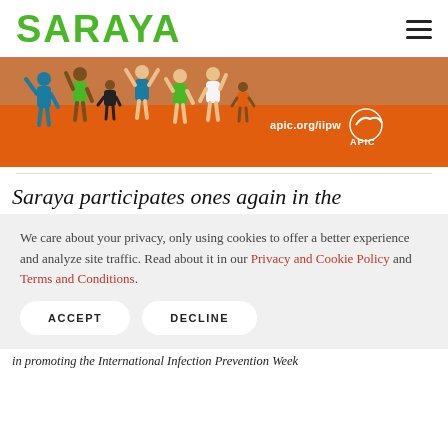SARAYA
[Figure (illustration): Orange banner for APIC International Infection Prevention Week showing diverse people with raised hands; text reads 'apic.org/iipw' with APIC logo]
Saraya participates ones again in the
We care about your privacy, only using cookies to offer a better experience and analyze site traffic. Read about it in our Privacy and Cookie Policy and Terms and Conditions.
ACCEPT   DECLINE
in promoting the International Infection Prevention Week